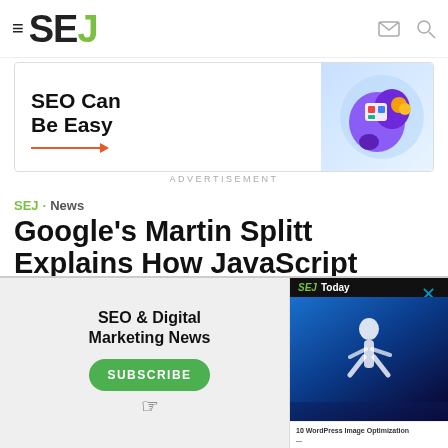≡ SEJ
[Figure (illustration): SEJ advertisement banner showing 'SEO Can Be Easy' with orange arrow and 3D graphic]
ADVERTISEMENT
SEJ · News
Google's Martin Splitt Explains How JavaScript Sites are Indexed
[Figure (infographic): Bottom overlay ad for SEJ Today newsletter with Subscribe button and athlete image]